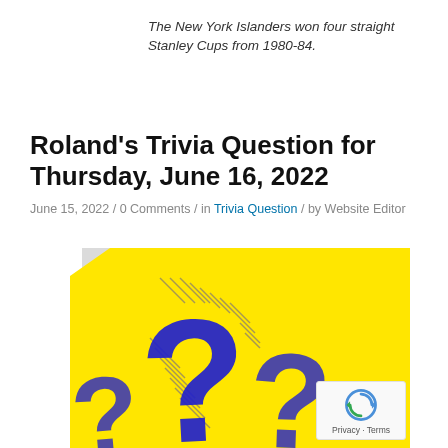The New York Islanders won four straight Stanley Cups from 1980-84.
Roland's Trivia Question for Thursday, June 16, 2022
June 15, 2022 / 0 Comments / in Trivia Question / by Website Editor
[Figure (illustration): Yellow sticky note with three large blue hand-drawn question marks on it, slightly tilted, with a gray folded corner at the top left.]